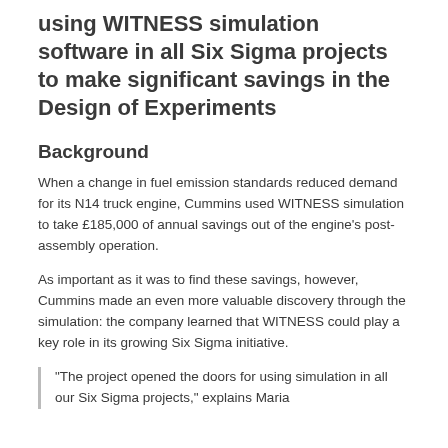using WITNESS simulation software in all Six Sigma projects to make significant savings in the Design of Experiments
Background
When a change in fuel emission standards reduced demand for its N14 truck engine, Cummins used WITNESS simulation to take £185,000 of annual savings out of the engine’s post-assembly operation.
As important as it was to find these savings, however, Cummins made an even more valuable discovery through the simulation: the company learned that WITNESS could play a key role in its growing Six Sigma initiative.
“The project opened the doors for using simulation in all our Six Sigma projects,” explains Maria